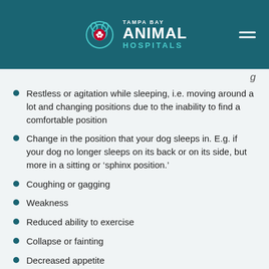Tampa Bay Animal Hospitals
Restless or agitation while sleeping, i.e. moving around a lot and changing positions due to the inability to find a comfortable position
Change in the position that your dog sleeps in. E.g. if your dog no longer sleeps on its back or on its side, but more in a sitting or ‘sphinx position.’
Coughing or gagging
Weakness
Reduced ability to exercise
Collapse or fainting
Decreased appetite
Weight loss